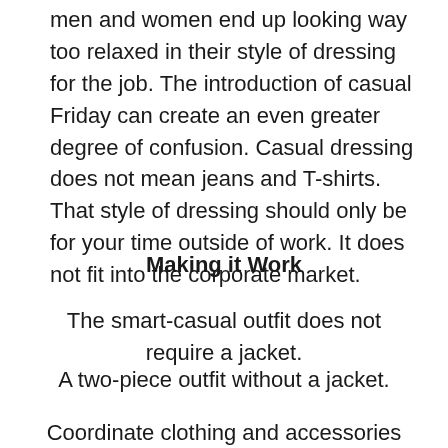men and women end up looking way too relaxed in their style of dressing for the job. The introduction of casual Friday can create an even greater degree of confusion. Casual dressing does not mean jeans and T-shirts. That style of dressing should only be for your time outside of work. It does not fit into the corporate market.
Making it Work
The smart-casual outfit does not require a jacket.
A two-piece outfit without a jacket.
Coordinate clothing and accessories with similar